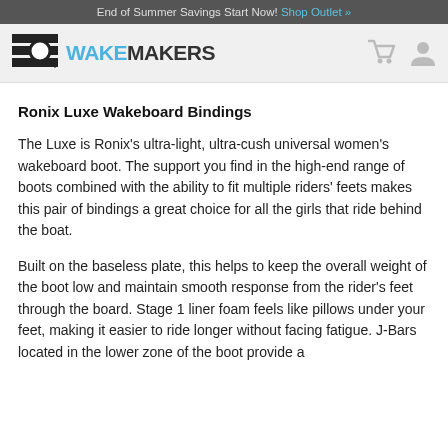End of Summer Savings Start Now! Shop Outlet »
[Figure (logo): WakeMakers logo with magnifying glass icon]
Ronix Luxe Wakeboard Bindings
The Luxe is Ronix's ultra-light, ultra-cush universal women's wakeboard boot. The support you find in the high-end range of boots combined with the ability to fit multiple riders' feets makes this pair of bindings a great choice for all the girls that ride behind the boat.
Built on the baseless plate, this helps to keep the overall weight of the boot low and maintain smooth response from the rider's feet through the board. Stage 1 liner foam feels like pillows under your feet, making it easier to ride longer without facing fatigue. J-Bars located in the lower zone of the boot provide a